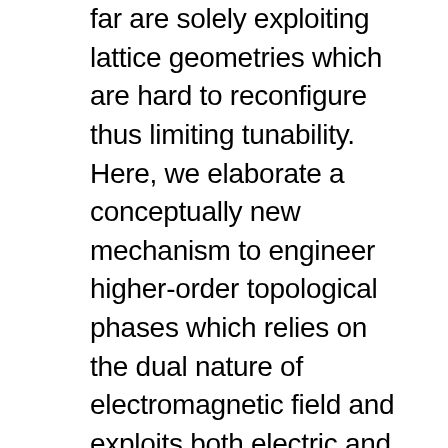far are solely exploiting lattice geometries which are hard to reconfigure thus limiting tunability. Here, we elaborate a conceptually new mechanism to engineer higher-order topological phases which relies on the dual nature of electromagnetic field and exploits both electric and magnetic responses of the meta-atoms.